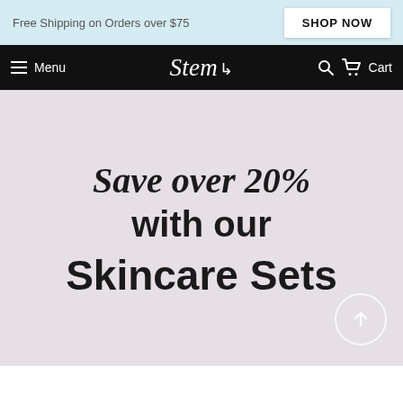Free Shipping on Orders over $75
SHOP NOW
Menu  Stem  Search  Cart
Save over 20% with our Skincare Sets